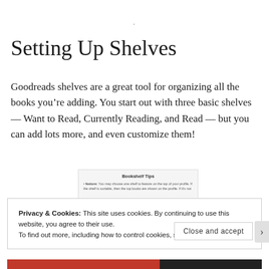.
Setting Up Shelves
Goodreads shelves are a great tool for organizing all the books you're adding. You start out with three basic shelves — Want to Read, Currently Reading, and Read — but you can add lots more, and even customize them!
[Figure (screenshot): Screenshot of Bookshelf Tips panel showing feature: You may choose one shelf to feature on the top of your profile. If the shelf is sortable, then the top books are shown on the profile. If it's not]
Privacy & Cookies: This site uses cookies. By continuing to use this website, you agree to their use.
To find out more, including how to control cookies, see here: Cookie Policy
Close and accept